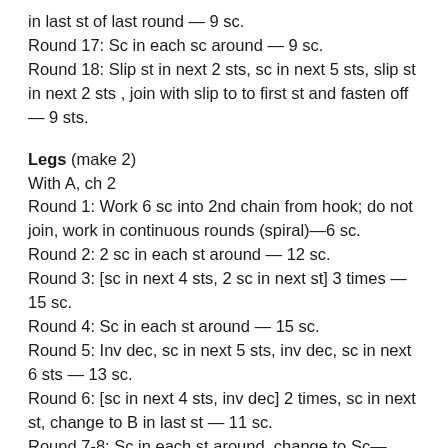Rounds 13–16: for 3c in each st around, changing to B in last st of last round — 9 sc.
Round 17: Sc in each sc around — 9 sc.
Round 18: Slip st in next 2 sts, sc in next 5 sts, slip st in next 2 sts , join with slip to to first st and fasten off — 9 sts.
Legs (make 2)
With A, ch 2
Round 1: Work 6 sc into 2nd chain from hook; do not join, work in continuous rounds (spiral)—6 sc.
Round 2: 2 sc in each st around — 12 sc.
Round 3: [sc in next 4 sts, 2 sc in next st] 3 times — 15 sc.
Round 4: Sc in each st around — 15 sc.
Round 5: Inv dec, sc in next 5 sts, inv dec, sc in next 6 sts — 13 sc.
Round 6: [sc in next 4 sts, inv dec] 2 times, sc in next st, change to B in last st — 11 sc.
Round 7-8: Sc in each st around, change to Sc— (cut off text)